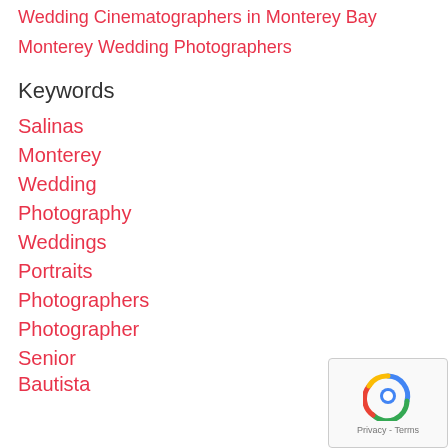Wedding Cinematographers in Monterey Bay
Monterey Wedding Photographers
Keywords
Salinas
Monterey
Wedding
Photography
Weddings
Portraits
Photographers
Photographer
Senior
Bautista
Archive
« 2021  2022
January
February
March